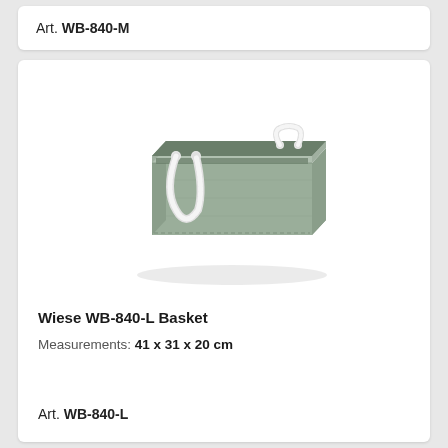Art. WB-840-M
[Figure (photo): A sage/olive green fabric storage basket with white braided rope handles, photographed from a slightly elevated angle showing the open top and interior.]
Wiese WB-840-L Basket
Measurements: 41 x 31 x 20 cm
Art. WB-840-L